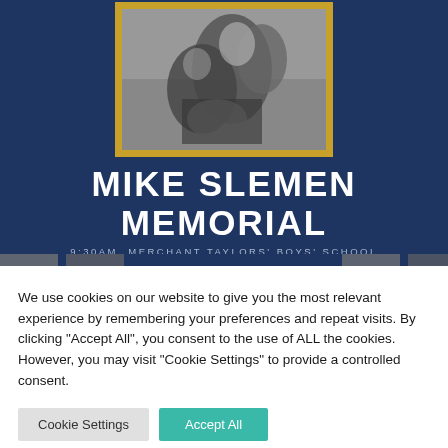[Figure (photo): Black and white photo of rugby players in action, framed with a gold border, on a navy blue background. Text below reads MIKE SLEMEN MEMORIAL with subtitle 9:30AM, MERCHANT TAYLORS' BOYS' SCHOOL]
MIKE SLEMEN MEMORIAL
9:30AM, MERCHANT TAYLORS' BOYS' SCHOOL
We use cookies on our website to give you the most relevant experience by remembering your preferences and repeat visits. By clicking “Accept All”, you consent to the use of ALL the cookies. However, you may visit “Cookie Settings” to provide a controlled consent.